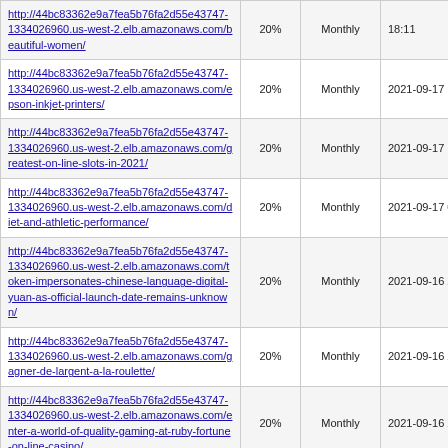| URL | Change | Frequency | Last Modified |
| --- | --- | --- | --- |
| http://44bc83362e9a7fea5b76fa2d55e43747-1334026960.us-west-2.elb.amazonaws.com/beautiful-women/ | 20% | Monthly | 18:11 |
| http://44bc83362e9a7fea5b76fa2d55e43747-1334026960.us-west-2.elb.amazonaws.com/epson-inkjet-printers/ | 20% | Monthly | 2021-09-17 14:16 |
| http://44bc83362e9a7fea5b76fa2d55e43747-1334026960.us-west-2.elb.amazonaws.com/greatest-on-line-slots-in-2021/ | 20% | Monthly | 2021-09-17 11:01 |
| http://44bc83362e9a7fea5b76fa2d55e43747-1334026960.us-west-2.elb.amazonaws.com/diet-and-athletic-performance/ | 20% | Monthly | 2021-09-17 00:40 |
| http://44bc83362e9a7fea5b76fa2d55e43747-1334026960.us-west-2.elb.amazonaws.com/token-impersonates-chinese-language-digital-yuan-as-official-launch-date-remains-unknown/ | 20% | Monthly | 2021-09-16 20:59 |
| http://44bc83362e9a7fea5b76fa2d55e43747-1334026960.us-west-2.elb.amazonaws.com/gagner-de-largent-a-la-roulette/ | 20% | Monthly | 2021-09-16 20:40 |
| http://44bc83362e9a7fea5b76fa2d55e43747-1334026960.us-west-2.elb.amazonaws.com/enter-a-world-of-quality-gaming-at-ruby-fortune-on-line-casino/ | 20% | Monthly | 2021-09-16 20:27 |
| http://44bc83362e9a7fea5b76fa2d55e43747-1334026960.us-west-2.elb.amazonaws.com/free-on-line-casino-coupons-no-deposit-for-silver-oak-2021/ | 20% | Monthly | 2021-09-16 20:19 |